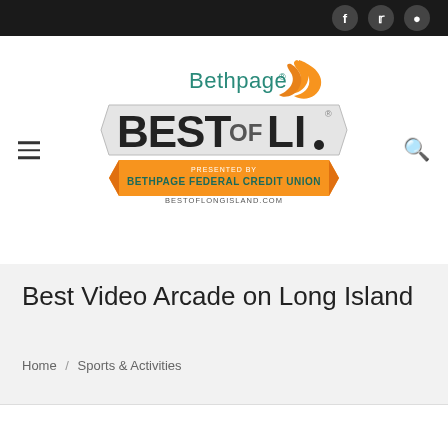Social icons: Facebook, Twitter, Instagram
[Figure (logo): Bethpage Best of LI logo — 'Bethpage' in teal with orange swoosh B, 'BEST of LI' in large bold black letters with decorative banner, 'PRESENTED BY BETHPAGE FEDERAL CREDIT UNION' on orange ribbon, BESTOFLONGISLAND.COM below]
Best Video Arcade on Long Island
Home / Sports & Activities